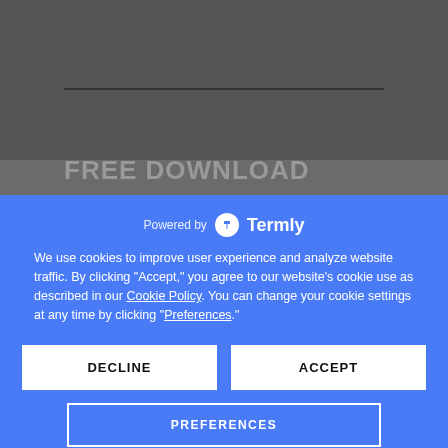[Figure (screenshot): Background webpage showing 'FREE DOWNLOAD' heading and CBD/Hemp content with country flag icons and Calendly widget, partially obscured by cookie consent overlay]
Powered by Termly
We use cookies to improve user experience and analyze website traffic. By clicking "Accept," you agree to our website's cookie use as described in our Cookie Policy. You can change your cookie settings at any time by clicking "Preferences."
DECLINE
ACCEPT
PREFERENCES